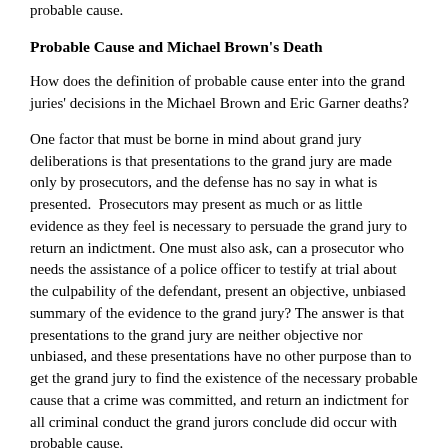probable cause.
Probable Cause and Michael Brown's Death
How does the definition of probable cause enter into the grand juries' decisions in the Michael Brown and Eric Garner deaths?
One factor that must be borne in mind about grand jury deliberations is that presentations to the grand jury are made only by prosecutors, and the defense has no say in what is presented.  Prosecutors may present as much or as little evidence as they feel is necessary to persuade the grand jury to return an indictment. One must also ask, can a prosecutor who needs the assistance of a police officer to testify at trial about the culpability of the defendant, present an objective, unbiased summary of the evidence to the grand jury? The answer is that presentations to the grand jury are neither objective nor unbiased, and these presentations have no other purpose than to get the grand jury to find the existence of the necessary probable cause that a crime was committed, and return an indictment for all criminal conduct the grand jurors conclude did occur with probable cause.